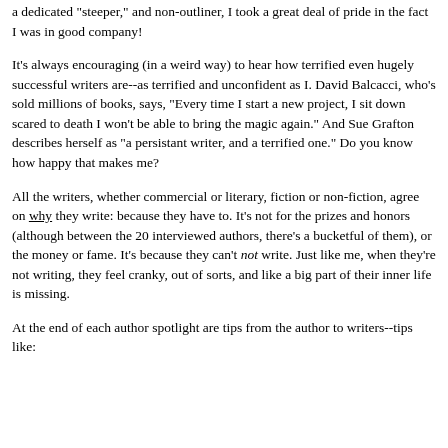a dedicated "steeper," and non-outliner, I took a great deal of pride in the fact I was in good company!
It's always encouraging (in a weird way) to hear how terrified even hugely successful writers are--as terrified and unconfident as I. David Balcacci, who's sold millions of books, says, "Every time I start a new project, I sit down scared to death I won't be able to bring the magic again." And Sue Grafton describes herself as "a persistant writer, and a terrified one." Do you know how happy that makes me?
All the writers, whether commercial or literary, fiction or non-fiction, agree on why they write: because they have to. It's not for the prizes and honors (although between the 20 interviewed authors, there's a bucketful of them), or the money or fame. It's because they can't not write. Just like me, when they're not writing, they feel cranky, out of sorts, and like a big part of their inner life is missing.
At the end of each author spotlight are tips from the author to writers--tips like: